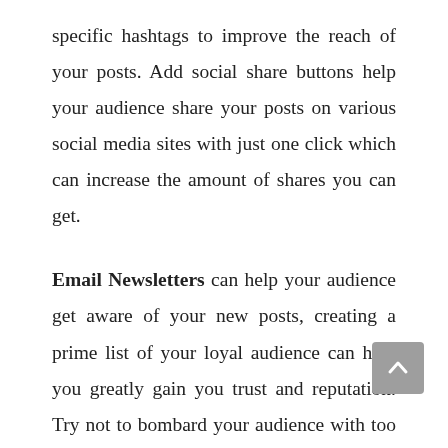specific hashtags to improve the reach of your posts. Add social share buttons help your audience share your posts on various social media sites with just one click which can increase the amount of shares you can get.
Email Newsletters can help your audience get aware of your new posts, creating a prime list of your loyal audience can help you greatly gain you trust and reputation. Try not to bombard your audience with too many mails, this can make your sites reputation bad and